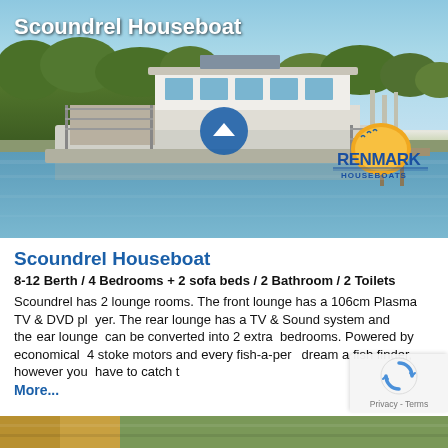[Figure (photo): Scoundrel Houseboat on a river, surrounded by trees and calm water, with Renmark Houseboats logo overlaid. Title text 'Scoundrel Houseboat' appears in white at the top left of the photo.]
Scoundrel Houseboat
8-12 Berth / 4 Bedrooms + 2 sofa beds / 2 Bathroom / 2 Toilets
Scoundrel has 2 lounge rooms. The front lounge has a 106cm Plasma TV & DVD player.  The rear lounge has a TV & Sound system and the rear lounge  can be converted into 2 extra  bedrooms. Powered by economical  4 stoke motors and every fish-a-pers dream a fish finder,  however you  have to catch t More...
[Figure (photo): Bottom strip showing partial image of another houseboat listing]